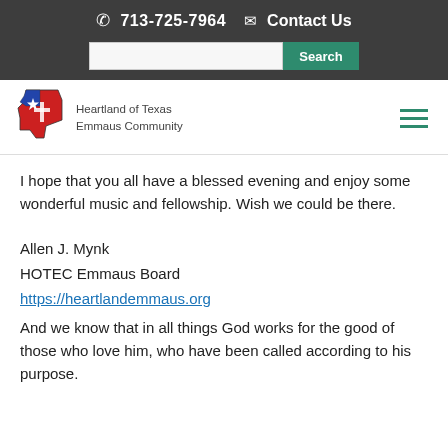713-725-7964   Contact Us
[Figure (logo): Heartland of Texas Emmaus Community logo with Texas state shape and cross]
I hope that you all have a blessed evening and enjoy some wonderful music and fellowship.  Wish we could be there.
Allen J. Mynk
HOTEC Emmaus Board
https://heartlandemmaus.org
And we know that in all things God works for the good of those who love him, who have been called according to his purpose.